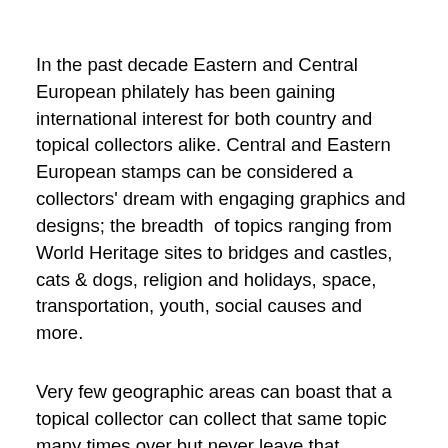In the past decade Eastern and Central European philately has been gaining international interest for both country and topical collectors alike. Central and Eastern European stamps can be considered a collectors' dream with engaging graphics and designs; the breadth  of topics ranging from World Heritage sites to bridges and castles, cats & dogs, religion and holidays, space, transportation, youth, social causes and more.
Very few geographic areas can boast that a topical collector can collect that same topic many times over but never leave that geography!  For example, a sports stamp from Yugoslavia can be collected again as a sports stamp from Croatia, Macedonia, Serbia, Montenegro, Slovenia, Bosnia and Herzegovina.